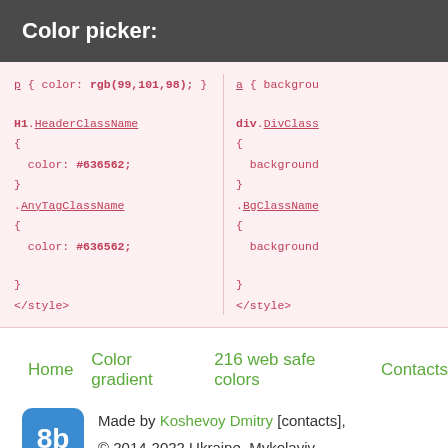Color picker:
p { color: rgb(99,101,98); }

H1.HeaderClassName
{
  color: #636562;
}
.AnyTagClassName
{
  color: #636562;
}
</style>
a { background...

div.DivClass...
{
  background...
}
.BgClassName...
{
  background...
}
</style>
Home   Color gradient   216 web safe colors   Contacts
Made by Koshevoy Dmitry [contacts],
© 2014-2022 Ukraine, Mykolayiv.